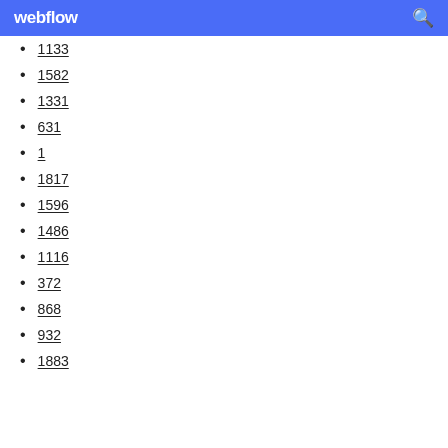webflow
1133
1582
1331
631
1
1817
1596
1486
1116
372
868
932
1883